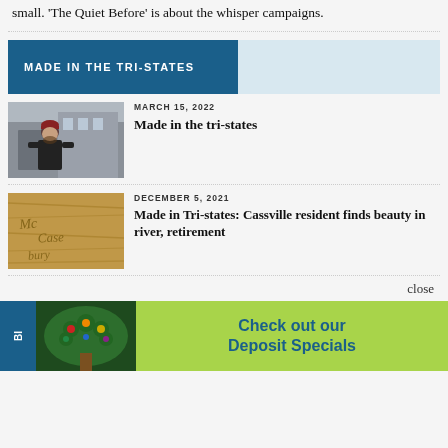small. 'The Quiet Before' is about the whisper campaigns.
MADE IN THE TRI-STATES
[Figure (photo): Person standing outside a building wearing a dark jacket and red beanie hat]
MARCH 15, 2022
Made in the tri-states
[Figure (photo): Wooden carved sign with cursive lettering]
DECEMBER 5, 2021
Made in Tri-states: Cassville resident finds beauty in river, retirement
close
[Figure (infographic): Bank advertisement: Check out our Deposit Specials, with tree logo on green and blue background]